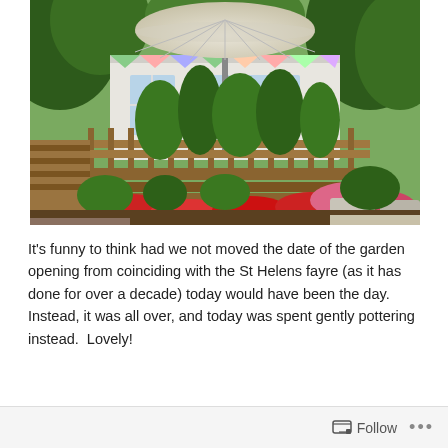[Figure (photo): A lush garden scene with raised flower beds containing red and pink flowers, tall green climbing plants behind a wooden railing, and a white building with large windows in the background. A large cream-colored patio umbrella stands prominently in the center above the building.]
It's funny to think had we not moved the date of the garden opening from coinciding with the St Helens fayre (as it has done for over a decade) today would have been the day. Instead, it was all over, and today was spent gently pottering instead.  Lovely!
Follow ...